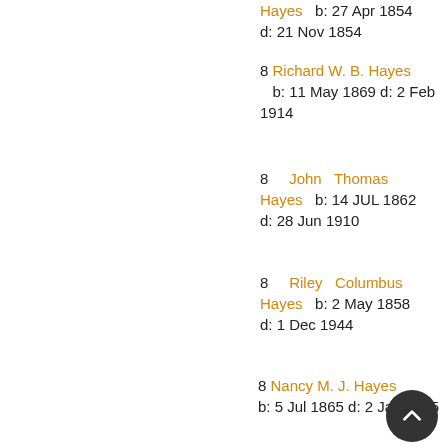Hayes   b: 27 Apr 1854  d: 21 Nov 1854
8 Richard W. B. Hayes   b: 11 May 1869 d: 2 Feb 1914
8   John Thomas Hayes   b: 14 JUL 1862  d: 28 Jun 1910
8   Riley Columbus Hayes   b: 2 May 1858  d: 1 Dec 1944
8 Nancy M. J. Hayes  b: 5 Jul 1865 d: 2 Jan 1925
8  Betsey Ann Hayes   b: 10 Sep 1860 d: 21 Jul 1861
8  Thomas Hayes   b: